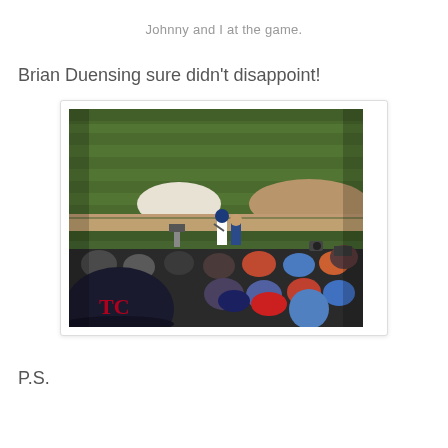Johnny and I at the game.
Brian Duensing sure didn't disappoint!
[Figure (photo): A baseball game scene photographed from stadium seating. The green striped outfield grass is visible in the background with a sand area (base cutout). In the foreground, a crowd of spectators is visible with a prominent Minnesota Twins cap with the TC logo in the lower left. On the field, a player in a white baseball uniform stands with a person in a blue outfit nearby and there are camera crews and media people around them.]
P.S.